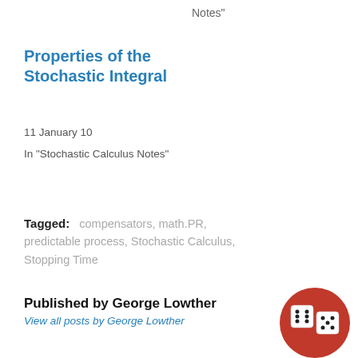Notes"
Properties of the Stochastic Integral
11 January 10
In "Stochastic Calculus Notes"
Tagged:   compensators, math.PR, predictable process, Stochastic Calculus, Stopping Time
Published by George Lowther
View all posts by George Lowther
[Figure (photo): Circular photo of two white dice on a red background]